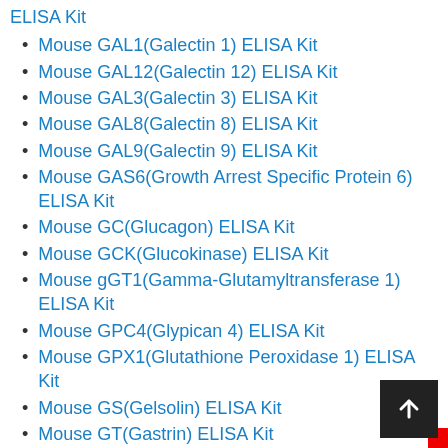ELISA Kit
Mouse GAL1(Galectin 1) ELISA Kit
Mouse GAL12(Galectin 12) ELISA Kit
Mouse GAL3(Galectin 3) ELISA Kit
Mouse GAL8(Galectin 8) ELISA Kit
Mouse GAL9(Galectin 9) ELISA Kit
Mouse GAS6(Growth Arrest Specific Protein 6) ELISA Kit
Mouse GC(Glucagon) ELISA Kit
Mouse GCK(Glucokinase) ELISA Kit
Mouse gGT1(Gamma-Glutamyltransferase 1) ELISA Kit
Mouse GPC4(Glypican 4) ELISA Kit
Mouse GPX1(Glutathione Peroxidase 1) ELISA Kit
Mouse GS(Gelsolin) ELISA Kit
Mouse GT(Gastrin) ELISA Kit
Mouse GUSb(Glucuronidase Beta) ELISA